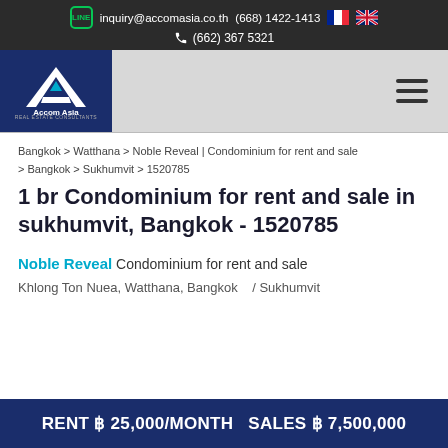inquiry@accomasia.co.th  (668) 1422-1413  (662) 367 5321
[Figure (logo): Accom Asia Real Estate Consultants logo - white A with blue triangle on dark blue background]
Bangkok > Watthana > Noble Reveal | Condominium for rent and sale > Bangkok > Sukhumvit > 1520785
1 br Condominium for rent and sale in sukhumvit, Bangkok - 1520785
Noble Reveal Condominium for rent and sale
Khlong Ton Nuea, Watthana, Bangkok   / Sukhumvit
RENT ฿ 25,000/MONTH  SALES ฿ 7,500,000